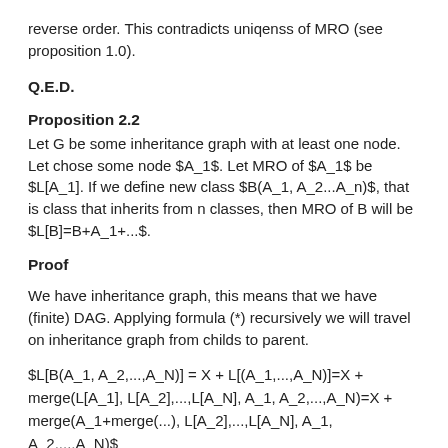reverse order. This contradicts uniqenss of MRO (see proposition 1.0).
Q.E.D.
Proposition 2.2
Let G be some inheritance graph with at least one node. Let chose some node $A_1$. Let MRO of $A_1$ be $L[A_1]. If we define new class $B(A_1, A_2...A_n)$, that is class that inherits from n classes, then MRO of B will be $L[B]=B+A_1+...$.
Proof
We have inheritance graph, this means that we have (finite) DAG. Applying formula (*) recursively we will travel on inheritance graph from childs to parent.
$L[B(A_1, A_2,...,A_N)] = X + L[(A_1,...,A_N)]=X + merge(L[A_1], L[A_2],...,L[A_N], A_1, A_2,...,A_N)=X + merge(A_1+merge(...), L[A_2],...,L[A_N], A_1, A_2,...,A_N)$